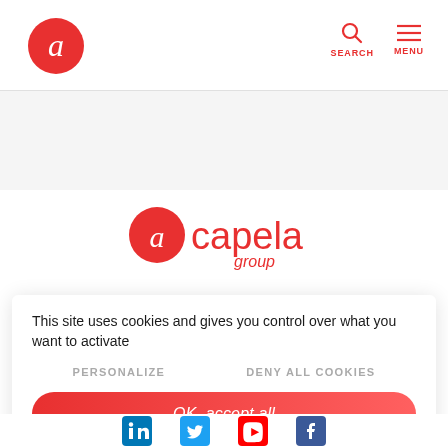[Figure (logo): Acapela group navigation logo - red circle with white letter a]
SEARCH   MENU
[Figure (logo): Acapela group brand logo - large red logo with acapela text and group subtitle]
This site uses cookies and gives you control over what you want to activate
PERSONALIZE   DENY ALL COOKIES
OK, accept all
[Figure (infographic): Social media icons row: LinkedIn, Twitter, YouTube, Facebook]